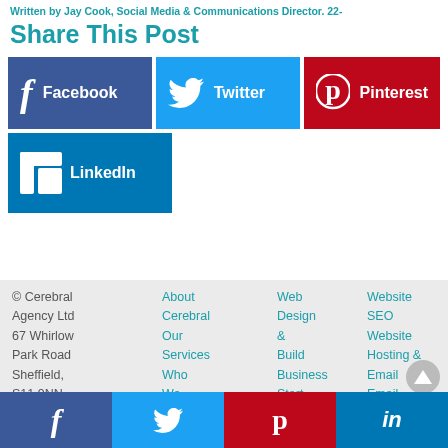Written by Jay Cook, Social Media & Communications Director. 22-
Share This Post
[Figure (infographic): Social media share buttons: Facebook (dark blue), Twitter (light blue), Pinterest (red), LinkedIn (blue)]
© Cerebral Agency Ltd 67 Whirlow Park Road Sheffield, S11 9NN | About Cerebral Our Services Who We | Web Design & Build Business Start | Website SEO Website Hosting & Email Email
[Figure (infographic): Bottom bar with social media icons: Facebook, Twitter, Pinterest, LinkedIn]